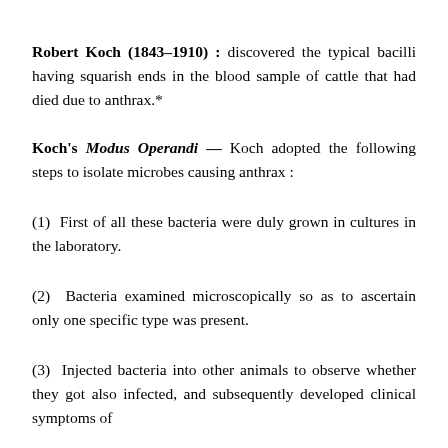Robert Koch (1843–1910) : discovered the typical bacilli having squarish ends in the blood sample of cattle that had died due to anthrax.*
Koch's Modus Operandi — Koch adopted the following steps to isolate microbes causing anthrax :
(1)  First of all these bacteria were duly grown in cultures in the laboratory.
(2)  Bacteria examined microscopically so as to ascertain only one specific type was present.
(3)  Injected bacteria into other animals to observe whether they got also infected, and subsequently developed clinical symptoms of